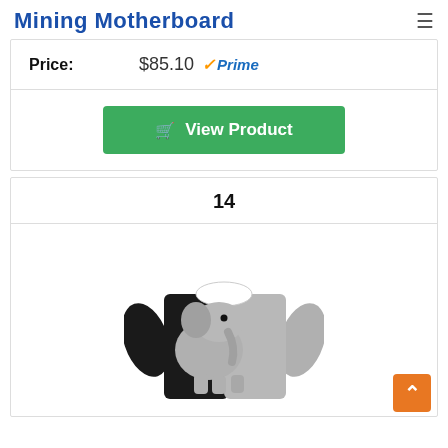Mining Motherboard
| Price: | $85.10  ✓Prime |
| --- | --- |
View Product
14
[Figure (photo): A black and grey children's sweatshirt with an elephant graphic on the front. The right sleeve and part of the chest is grey, the left side is black. The elephant design is grey on black background.]